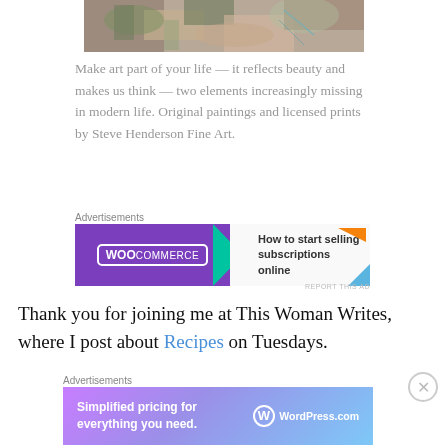[Figure (photo): Colorful abstract painting with leaves and foliage in muted earth tones, greens, and oranges (cropped top portion visible)]
Make art part of your life — it reflects beauty and makes us think — two elements increasingly missing in modern life. Original paintings and licensed prints by Steve Henderson Fine Art.
Advertisements
[Figure (other): WooCommerce advertisement: How to start selling subscriptions online]
Thank you for joining me at This Woman Writes, where I post about Recipes on Tuesdays.
Advertisements
[Figure (other): WordPress.com advertisement: Simplified pricing for everything you need.]